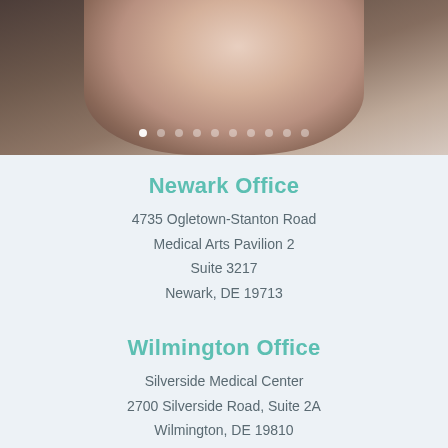[Figure (photo): Photo banner showing a baby or infant lying down, with white dot navigation indicators at the bottom]
Newark Office
4735 Ogletown-Stanton Road
Medical Arts Pavilion 2
Suite 3217
Newark, DE 19713
Wilmington Office
Silverside Medical Center
2700 Silverside Road, Suite 2A
Wilmington, DE 19810
Dover Office
Eden Hill Medical Center